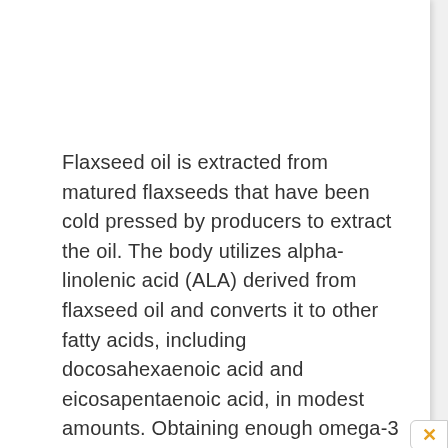Flaxseed oil is extracted from matured flaxseeds that have been cold pressed by producers to extract the oil. The body utilizes alpha-linolenic acid (ALA) derived from flaxseed oil and converts it to other fatty acids, including docosahexaenoic acid and eicosapentaenoic acid, in modest amounts. Obtaining enough omega-3 fatty acids is